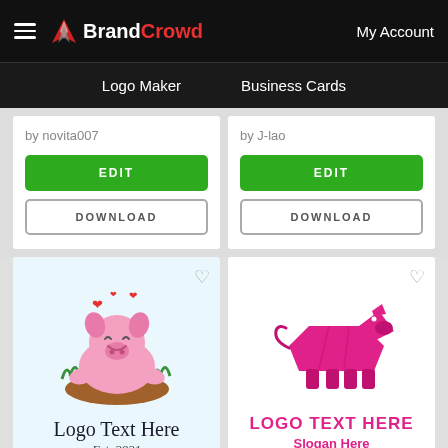BrandCrowd — My Account
Logo Maker | Business Cards
by novita007
by J-lao
EDIT
DOWNLOAD
EDIT
DOWNLOAD
[Figure (logo): Smiling pink cartoon pig sitting in mud with grass and red hearts, logo text: Logo Text Here Est. 2021]
[Figure (logo): Pink origami-style pig logo with text: LOGO TEXT HERE, Slogan Here]
Smiling Pig Illustration
Pink Pig Origami